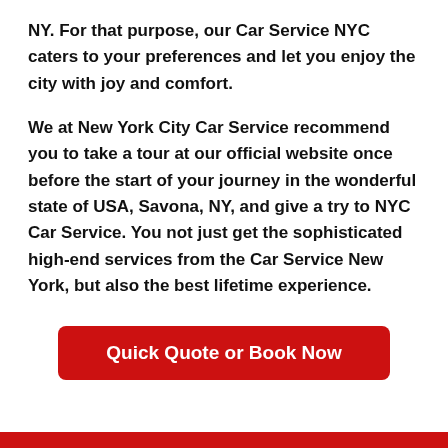NY. For that purpose, our Car Service NYC caters to your preferences and let you enjoy the city with joy and comfort.

We at New York City Car Service recommend you to take a tour at our official website once before the start of your journey in the wonderful state of USA, Savona, NY, and give a try to NYC Car Service. You not just get the sophisticated high-end services from the Car Service New York, but also the best lifetime experience.
Quick Quote or Book Now